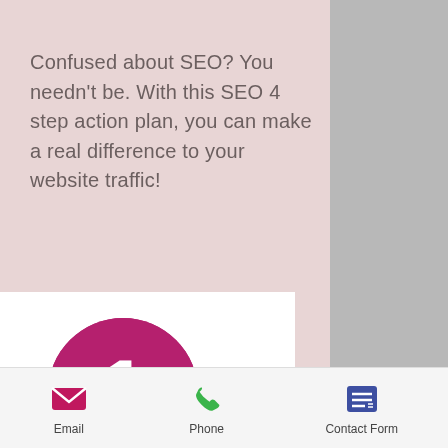Confused about SEO? You needn't be. With this SEO 4 step action plan, you can make a real difference to your website traffic!
[Figure (infographic): Magenta circle with the number 1 in white, representing step 1]
Do Keyword Research!
Email
Phone
Contact Form